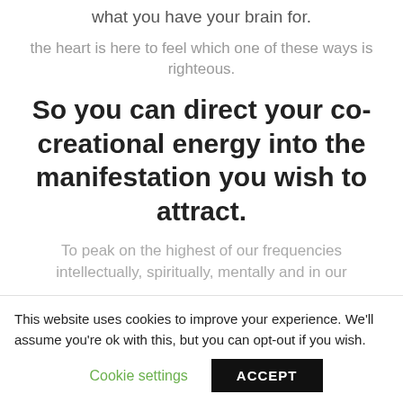what you have your brain for.
the heart is here to feel which one of these ways is righteous.
So you can direct your co-creational energy into the manifestation you wish to attract.
To peak on the highest of our frequencies intellectually, spiritually, mentally and in our
This website uses cookies to improve your experience. We'll assume you're ok with this, but you can opt-out if you wish.
Cookie settings  ACCEPT